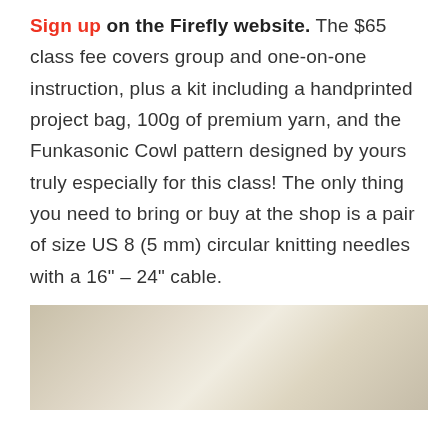Sign up on the Firefly website. The $65 class fee covers group and one-on-one instruction, plus a kit including a handprinted project bag, 100g of premium yarn, and the Funkasonic Cowl pattern designed by yours truly especially for this class! The only thing you need to bring or buy at the shop is a pair of size US 8 (5 mm) circular knitting needles with a 16" – 24" cable.
[Figure (photo): Photo showing what appears to be knitting needles or wooden craft items with a light beige/tan background]
[Figure (infographic): Advertisement banner with dark background showing a dog image and text 'FIND THE ONE' with a heart symbol, plus close buttons]